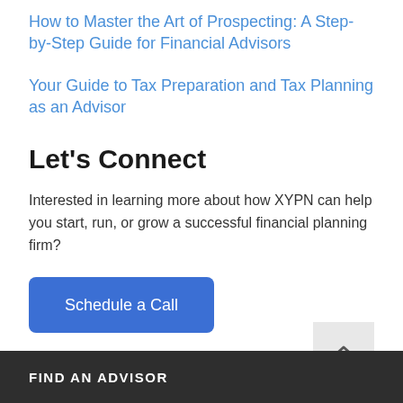How to Master the Art of Prospecting: A Step-by-Step Guide for Financial Advisors
Your Guide to Tax Preparation and Tax Planning as an Advisor
Let's Connect
Interested in learning more about how XYPN can help you start, run, or grow a successful financial planning firm?
Schedule a Call
FIND AN ADVISOR